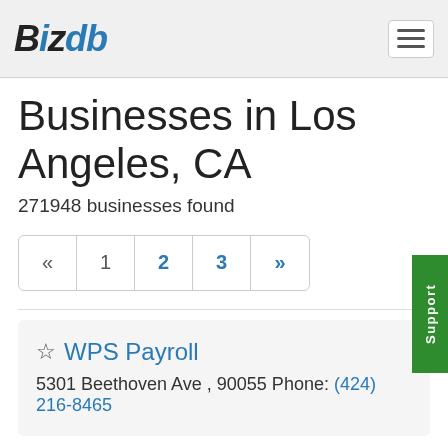BizDB
Businesses in Los Angeles, CA
271948 businesses found
« 1 2 3 »
WPS Payroll
5301 Beethoven Ave , 90055 Phone: (424) 216-8465